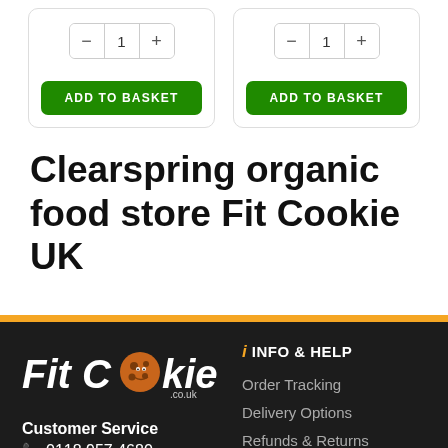[Figure (screenshot): Two product quantity selectors with minus, 1, plus controls each, followed by green ADD TO BASKET buttons in rounded rectangle cards]
Clearspring organic food store Fit Cookie UK
[Figure (logo): Fit Cookie .co.uk logo with cookie mascot character on dark background footer]
Customer Service
0118 957 4680
INFO & HELP
Order Tracking
Delivery Options
Refunds & Returns